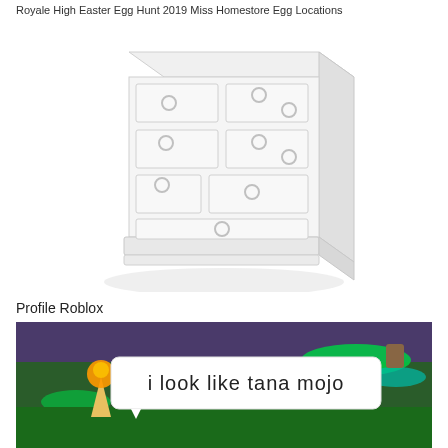Royale High Easter Egg Hunt 2019 Miss Homestore Egg Locations
[Figure (photo): A white dresser/chest of drawers with circular knobs on each drawer, shown in a 3D isometric view against a white/light gray background. The dresser has multiple drawers of varying sizes.]
Profile Roblox
[Figure (screenshot): A screenshot from the Roblox game showing a colorful scene with glowing platforms (green and teal), a character holding an ice cream cone (torch-like), and a white speech bubble overlay with black text reading 'i look like tana mojo'.]